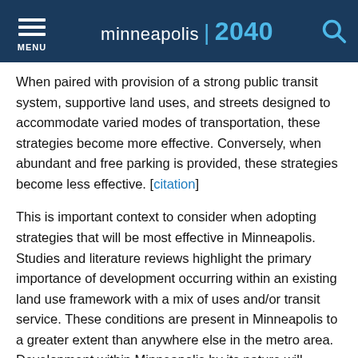MENU | minneapolis | 2040
When paired with provision of a strong public transit system, supportive land uses, and streets designed to accommodate varied modes of transportation, these strategies become more effective. Conversely, when abundant and free parking is provided, these strategies become less effective. [citation]
This is important context to consider when adopting strategies that will be most effective in Minneapolis. Studies and literature reviews highlight the primary importance of development occurring within an existing land use framework with a mix of uses and/or transit service. These conditions are present in Minneapolis to a greater extent than anywhere else in the metro area. Development within Minneapolis by its nature will produce fewer single occupancy vehicle trips and induce fewer greenhouse gas emissions than development elsewhere in the region. Travel